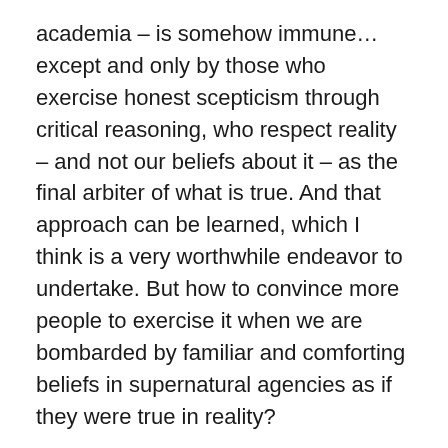academia – is somehow immune… except and only by those who exercise honest scepticism through critical reasoning, who respect reality – and not our beliefs about it – as the final arbiter of what is true. And that approach can be learned, which I think is a very worthwhile endeavor to undertake. But how to convince more people to exercise it when we are bombarded by familiar and comforting beliefs in supernatural agencies as if they were true in reality?
We are surrounded here in the west by self-spawning quackery to the extent that taxpayers subsidize its teachings and accept its many guises as legitimate treatments. But how many people understand the link between supernaturalism in religion to supernaturalism is medical treatments? To me it seems self-evident that what we're talking about is not a difference in kind of beliefs in